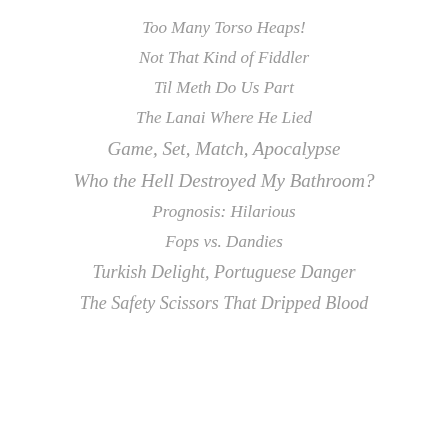Too Many Torso Heaps!
Not That Kind of Fiddler
Til Meth Do Us Part
The Lanai Where He Lied
Game, Set, Match, Apocalypse
Who the Hell Destroyed My Bathroom?
Prognosis: Hilarious
Fops vs. Dandies
Turkish Delight, Portuguese Danger
The Safety Scissors That Dripped Blood